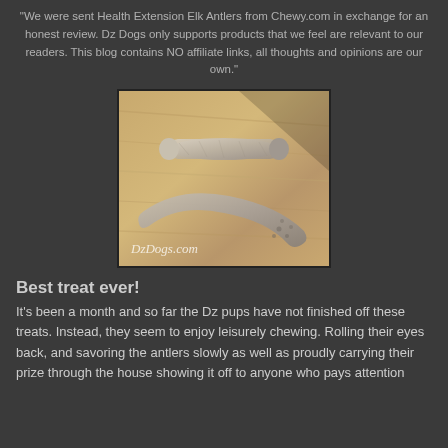"We were sent Health Extension Elk Antlers from Chewy.com in exchange for an honest review. Dz Dogs only supports products that we feel are relevant to our readers. This blog contains NO affiliate links, all thoughts and opinions are our own."
[Figure (photo): Two elk antler chews lying on a wooden surface. A shorter straight piece at top and a longer curved piece below. Watermark reads DzDogs.com in italic white text at bottom left.]
Best treat ever!
It's been a month and so far the Dz pups have not finished off these treats. Instead, they seem to enjoy leisurely chewing. Rolling their eyes back, and savoring the antlers slowly as well as proudly carrying their prize through the house showing it off to anyone who pays attention